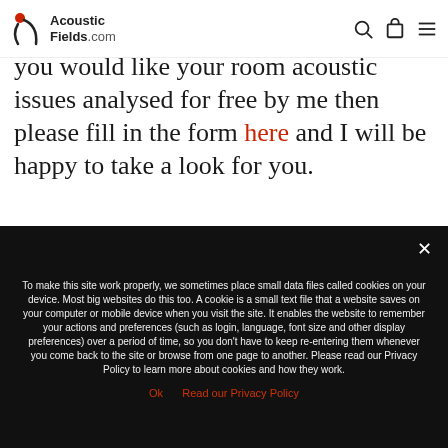[Figure (logo): Acoustic Fields .com logo with red dot and arc graphic]
you would like your room acoustic issues analysed for free by me then please fill in the form here and I will be happy to take a look for you.
To make this site work properly, we sometimes place small data files called cookies on your device. Most big websites do this too. A cookie is a small text file that a website saves on your computer or mobile device when you visit the site. It enables the website to remember your actions and preferences (such as login, language, font size and other display preferences) over a period of time, so you don't have to keep re-entering them whenever you come back to the site or browse from one page to another. Please read our Privacy Policy to learn more about cookies and how they work.
Ok   Read our Privacy Policy